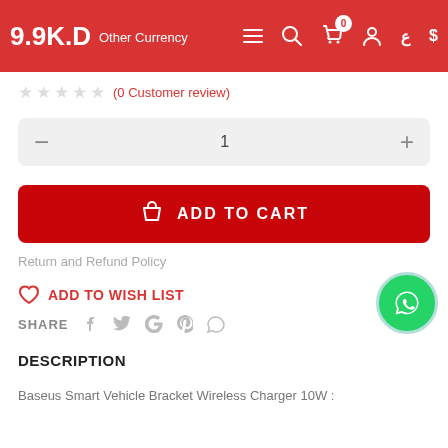9.9K.D Other Currency
(0 Customer review)
1
[Figure (other): ADD TO CART button - large red button with shopping bag icon]
Return and Refund Policy
ADD TO WISH LIST
SHARE
DESCRIPTION
Baseus Smart Vehicle Bracket Wireless Charger 10W :